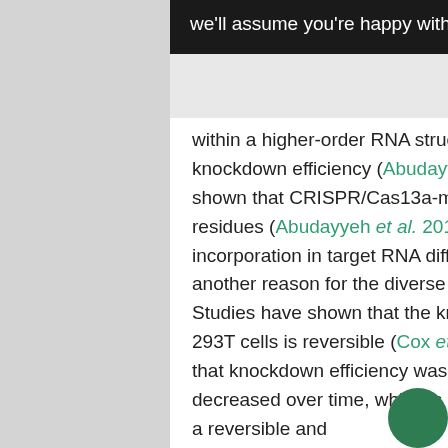we'll assume you're happy with this. More information
within a higher-order RNA structure, different gRNAs displayed various knockdown efficiency (Abudayyeh et al. 2016). Previous research has shown that CRISPR/Cas13a-mediated cleavage occurred at uracil residues (Abudayyeh et al. 2016, Smargon et al. 2017). Uracil incorporation in target RNA differs in number and location, which may be another reason for the diverse knockdown efficiency of various gRNAs. Studies have shown that the knockdown effect of CRISPR/Cas13d in 293T cells is reversible (Cox et al. 2017), and our experiments showed that knockdown efficiency was greatest at 24 h post-transfection and decreased over time, which is beneficial for gene therapy in RNA level in a reversible and